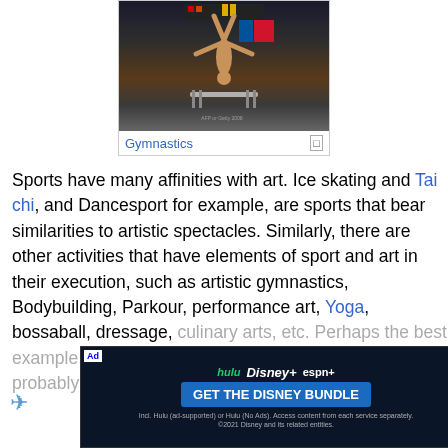[Figure (photo): A gymnast performing on parallel bars, shown in a darkened arena setting. The athlete is shirtless and holding a handstand position on the bars.]
Gymnastics
Sports have many affinities with art. Ice skating and Tai chi, and Dancesport for example, are sports that bear similarities to artistic spectacles. Similarly, there are other activities that have elements of sport and art in their execution, such as artistic gymnastics, Bodybuilding, Parkour, performance art, Yoga, bossaball, dressage, culinary arts, etc. Perhaps the best example is Bullfighting, which is... of newspaper... some situations is probably related to the nature of sports. Sport
[Figure (screenshot): Advertisement for Disney Bundle featuring Hulu, Disney+, and ESPN+ logos with a 'GET THE DISNEY BUNDLE' call-to-action button on a dark background.]